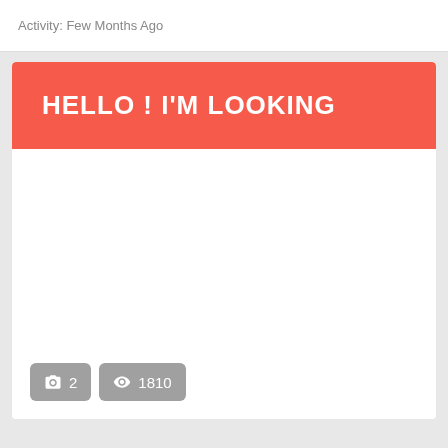Activity: Few Months Ago
HELLO ! I'M LOOKING
📷 2  👁 1810